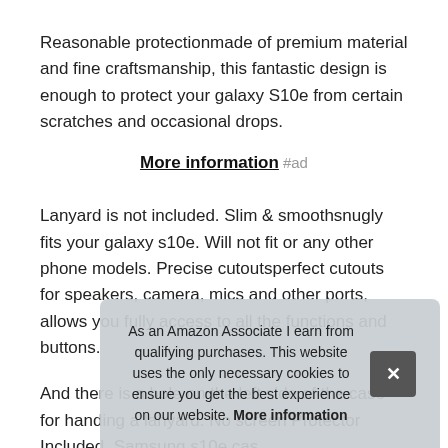Reasonable protectionmade of premium material and fine craftsmanship, this fantastic design is enough to protect your galaxy S10e from certain scratches and occasional drops.
More information #ad
Lanyard is not included. Slim & smoothsnugly fits your galaxy s10e. Will not fit or any other phone models. Precise cutoutsperfect cutouts for speakers, camera, mics and other ports, allows you fully access to all the functions and buttons.
And there is a hole on the left side of the case for handing a lanyard. No screen Protector Included. Samsung s10e cas s10 to a lum protection without being too bulky and slanky.
As an Amazon Associate I earn from qualifying purchases. This website uses the only necessary cookies to ensure you get the best experience on our website. More information